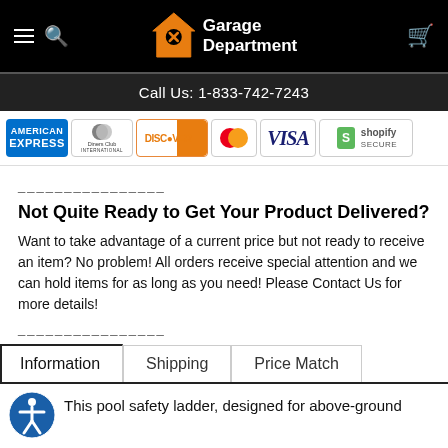Garage Department — Call Us: 1-833-742-7243
[Figure (logo): Garage Department logo with orange house and wrench icon on black background with navigation icons]
Call Us: 1-833-742-7243
[Figure (infographic): Payment method logos: American Express, Diners Club International, Discover, Mastercard, Visa, Shopify Secure]
_______________
Not Quite Ready to Get Your Product Delivered?
Want to take advantage of a current price but not ready to receive an item? No problem! All orders receive special attention and we can hold items for as long as you need! Please Contact Us for more details!
_______________
Information | Shipping | Price Match
This pool safety ladder, designed for above-ground